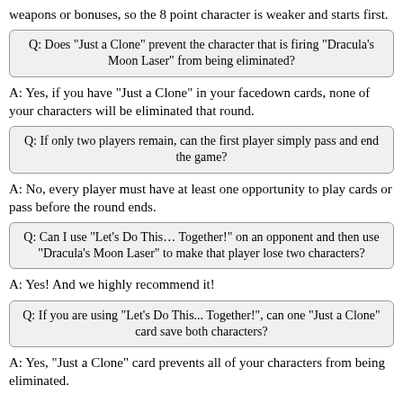weapons or bonuses, so the 8 point character is weaker and starts first.
Q: Does "Just a Clone" prevent the character that is firing "Dracula's Moon Laser" from being eliminated?
A: Yes, if you have "Just a Clone" in your facedown cards, none of your characters will be eliminated that round.
Q: If only two players remain, can the first player simply pass and end the game?
A: No, every player must have at least one opportunity to play cards or pass before the round ends.
Q: Can I use "Let's Do This… Together!" on an opponent and then use "Dracula's Moon Laser" to make that player lose two characters?
A: Yes! And we highly recommend it!
Q: If you are using "Let's Do This... Together!", can one "Just a Clone" card save both characters?
A: Yes, "Just a Clone" card prevents all of your characters from being eliminated.